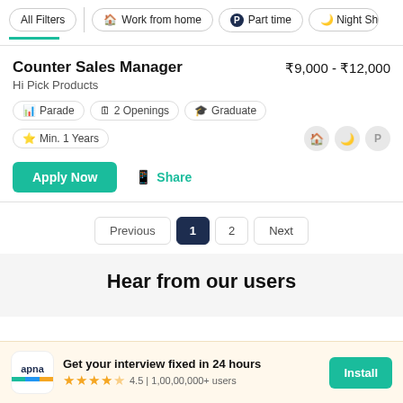All Filters | Work from home | Part time | Night Sh
Counter Sales Manager
Hi Pick Products
₹9,000 - ₹12,000
Parade  2 Openings  Graduate  Min. 1 Years
Apply Now  Share
Previous  1  2  Next
Hear from our users
Get your interview fixed in 24 hours  4.5 | 1,00,00,000+ users  Install